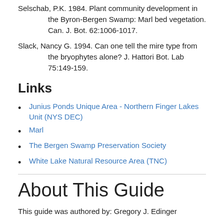Selschab, P.K. 1984. Plant community development in the Byron-Bergen Swamp: Marl bed vegetation. Can. J. Bot. 62:1006-1017.
Slack, Nancy G. 1994. Can one tell the mire type from the bryophytes alone? J. Hattori Bot. Lab 75:149-159.
Links
Junius Ponds Unique Area - Northern Finger Lakes Unit (NYS DEC)
Marl
The Bergen Swamp Preservation Society
White Lake Natural Resource Area (TNC)
About This Guide
This guide was authored by: Gregory J. Edinger
Information for this guide was last updated on: May 16, 2019
Please cite this page as:
New York Natural Heritage Program. 2022. Online Conservation Guide for Marl fen. Available from: https://guides.nynhp.org/marl-